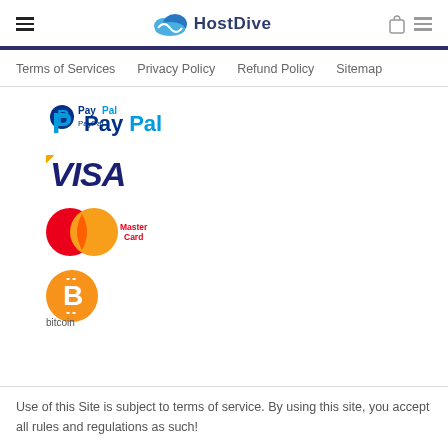HostDive
Terms of Services   Privacy Policy   Refund Policy   Sitemap
[Figure (logo): PayPal logo with blue P icon and PayPal wordmark in blue and dark blue text]
[Figure (logo): VISA logo in dark blue bold italic text with gold swoosh accent]
[Figure (logo): MasterCard logo with overlapping red and orange circles and MasterCard wordmark]
[Figure (logo): Bitcoin logo: orange circle with white B bitcoin symbol and 'bitcoin' text below]
Use of this Site is subject to terms of service. By using this site, you accept all rules and regulations as such!